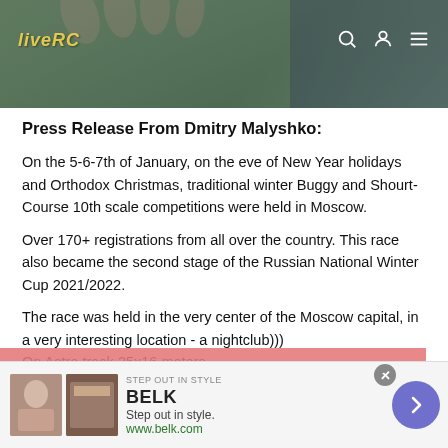[Figure (screenshot): Header image showing a website with liveRC logo on green/brown background with navigation icons]
Press Release From Dmitry Malyshko:
On the 5-6-7th of January, on the eve of New Year holidays and Orthodox Christmas, traditional winter Buggy and Shourt-Course 10th scale competitions were held in Moscow.
Over 170+ registrations from all over the country. This race also became the second stage of the Russian National Winter Cup 2021/2022.
The race was held in the very center of the Moscow capital, in a very interesting location - a nightclub)))
On Astro track 25x16 meters.
This website uses cookies to ensure you get the best experience on our website.  Learn more
[Figure (screenshot): Advertisement banner for BELK: Step out in style. www.belk.com with product images and navigation arrow]